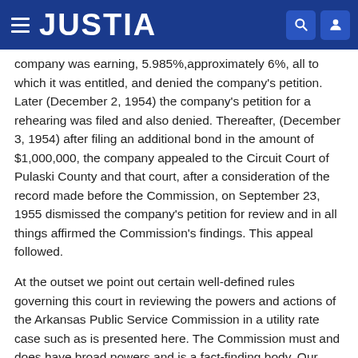JUSTIA
company was earning, 5.985%,approximately 6%, all to which it was entitled, and denied the company's petition. Later (December 2, 1954) the company's petition for a rehearing was filed and also denied. Thereafter, (December 3, 1954) after filing an additional bond in the amount of $1,000,000, the company appealed to the Circuit Court of Pulaski County and that court, after a consideration of the record made before the Commission, on September 23, 1955 dismissed the company's petition for review and in all things affirmed the Commission's findings. This appeal followed.
At the outset we point out certain well-defined rules governing this court in reviewing the powers and actions of the Arkansas Public Service Commission in a utility rate case such as is presented here. The Commission must and does have broad powers and is a fact-finding body. Our Legislature has delegated and entrusted the